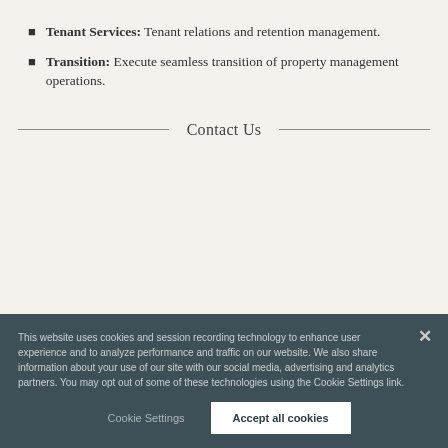Tenant Services: Tenant relations and retention management.
Transition: Execute seamless transition of property management operations.
Contact Us
This website uses cookies and session recording technology to enhance user experience and to analyze performance and traffic on our website. We also share information about your use of our site with our social media, advertising and analytics partners. You may opt out of some of these technologies using the Cookie Settings link.
Cookie Settings
Accept all cookies